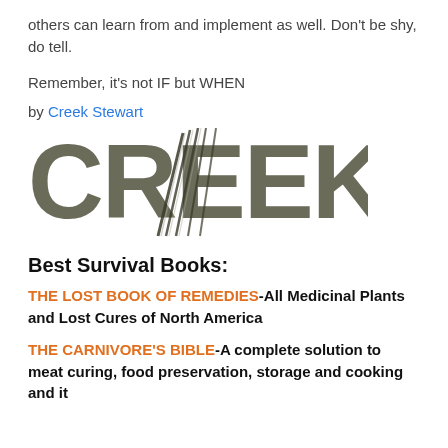others can learn from and implement as well. Don't be shy, do tell.
Remember, it's not IF but WHEN
by Creek Stewart
[Figure (logo): CREEK logo with claw scratch marks through the letters]
Best Survival Books:
THE LOST BOOK OF REMEDIES-All Medicinal Plants and Lost Cures of North America
THE CARNIVORE'S BIBLE-A complete solution to meat curing, food preservation, storage and cooking and it